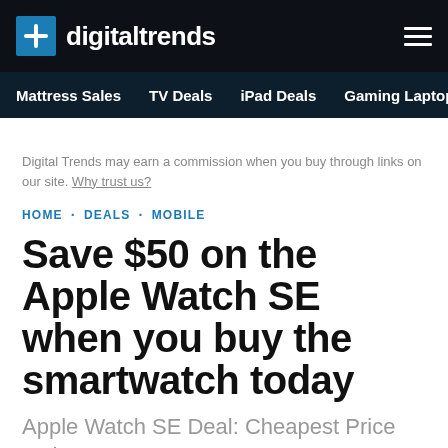digitaltrends
Mattress Sales · TV Deals · iPad Deals · Gaming Laptop Deals
Digital Trends may earn a commission when you buy through links on our site. Why trust us?
HOME · DEALS · MOBILE
Save $50 on the Apple Watch SE when you buy the smartwatch today
Apple Watch SE Deal: Cheapest Price Today